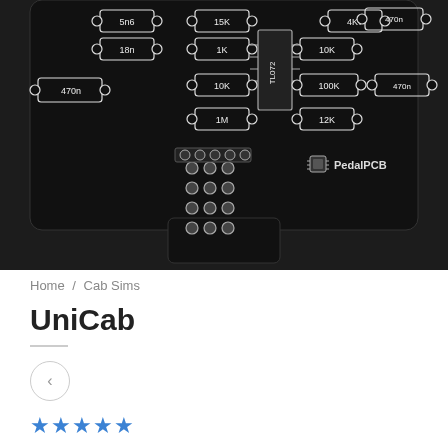[Figure (circuit-diagram): PCB circuit board layout showing component values including resistors (1K, 10K, 100K, 1M, 18n, 470n, 5n6, 4K7, 10K, 12K) and an IC labeled TL072, with PedalPCB logo/branding in bottom right. Dark black background with white silkscreen markings.]
Home / Cab Sims
UniCab
[Figure (other): Left navigation arrow button (chevron left) in a circular border]
★★★★★
$10.00
Compare to DSM OmniCabSim